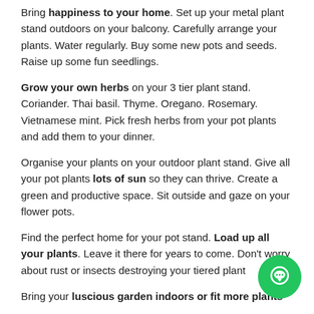Bring happiness to your home. Set up your metal plant stand outdoors on your balcony. Carefully arrange your plants. Water regularly. Buy some new pots and seeds. Raise up some fun seedlings.
Grow your own herbs on your 3 tier plant stand. Coriander. Thai basil. Thyme. Oregano. Rosemary. Vietnamese mint. Pick fresh herbs from your pot plants and add them to your dinner.
Organise your plants on your outdoor plant stand. Give all your pot plants lots of sun so they can thrive. Create a green and productive space. Sit outside and gaze on your flower pots.
Find the perfect home for your pot stand. Load up all your plants. Leave it there for years to come. Don't worry about rust or insects destroying your tiered plant...
Bring your luscious garden indoors or fit more plants